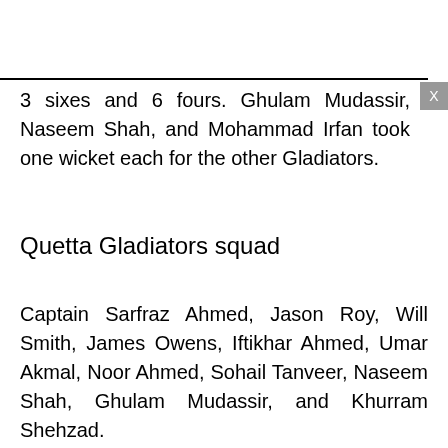3 sixes and 6 fours. Ghulam Mudassir, Naseem Shah, and Mohammad Irfan took one wicket each for the other Gladiators.
Quetta Gladiators squad
Captain Sarfraz Ahmed, Jason Roy, Will Smith, James Owens, Iftikhar Ahmed, Umar Akmal, Noor Ahmed, Sohail Tanveer, Naseem Shah, Ghulam Mudassir, and Khurram Shehzad.